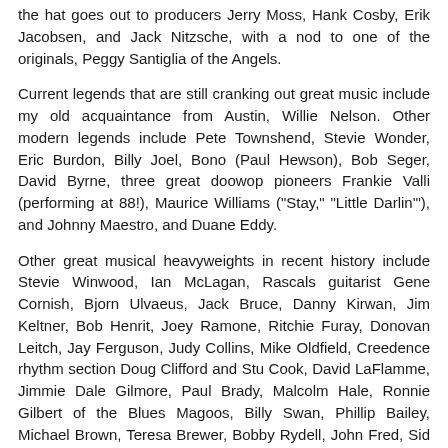the hat goes out to producers Jerry Moss, Hank Cosby, Erik Jacobsen, and Jack Nitzsche, with a nod to one of the originals, Peggy Santiglia of the Angels.
Current legends that are still cranking out great music include my old acquaintance from Austin, Willie Nelson. Other modern legends include Pete Townshend, Stevie Wonder, Eric Burdon, Billy Joel, Bono (Paul Hewson), Bob Seger, David Byrne, three great doowop pioneers Frankie Valli (performing at 88!), Maurice Williams ("Stay," "Little Darlin'"), and Johnny Maestro, and Duane Eddy.
Other great musical heavyweights in recent history include Stevie Winwood, Ian McLagan, Rascals guitarist Gene Cornish, Bjorn Ulvaeus, Jack Bruce, Danny Kirwan, Jim Keltner, Bob Henrit, Joey Ramone, Ritchie Furay, Donovan Leitch, Jay Ferguson, Judy Collins, Mike Oldfield, Creedence rhythm section Doug Clifford and Stu Cook, David LaFlamme, Jimmie Dale Gilmore, Paul Brady, Malcolm Hale, Ronnie Gilbert of the Blues Magoos, Billy Swan, Phillip Bailey, Michael Brown, Teresa Brewer, Bobby Rydell, John Fred, Sid Vicious, and the greatest selling solo female star of her era, pioneering feminist Lesley Gore. Then there are two of the most flamboyant performers ever, Cher and Liberace.